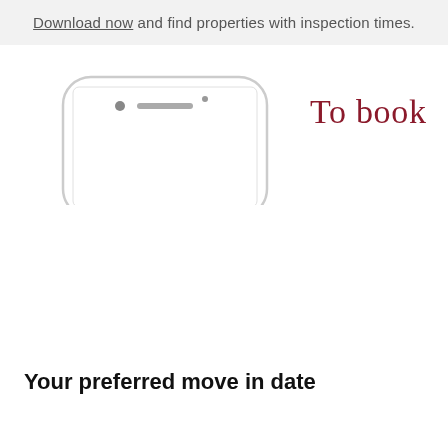Download now and find properties with inspection times.
[Figure (illustration): Partial top view of a white smartphone (iPhone-style) showing the front face with speaker and camera, cropped to show only the top portion of the device.]
To book
Your preferred move in date